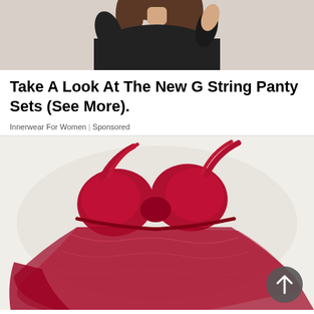[Figure (photo): Partial photo of a woman in black clothing, showing torso/arms against a light background]
Take A Look At The New G String Panty Sets (See More).
Innerwear For Women | Sponsored
[Figure (photo): Red babydoll lingerie set laid flat on a white surface, featuring sheer mesh fabric and underwire bra cups. A dark circular scroll-to-top button is visible in the bottom right corner.]
Hot Babydoll Lingerie That Blows The Mind